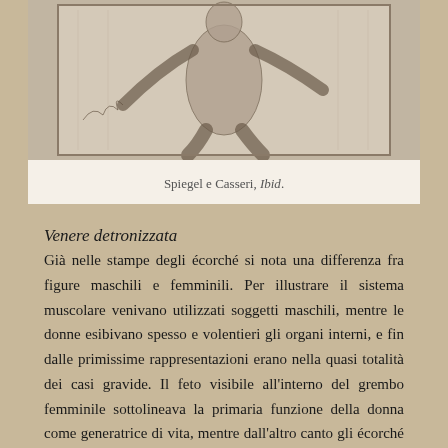[Figure (illustration): Historical anatomical engraving showing a muscular ecorché figure in a dynamic pose, from Spiegel and Casseri's anatomical work.]
Spiegel e Casseri, Ibid.
Venere detronizzata
Già nelle stampe degli écorché si nota una differenza fra figure maschili e femminili. Per illustrare il sistema muscolare venivano utilizzati soggetti maschili, mentre le donne esibivano spesso e volentieri gli organi interni, e fin dalle primissime rappresentazioni erano nella quasi totalità dei casi gravide. Il feto visibile all'interno del grembo femminile sottolineava la primaria funzione della donna come generatrice di vita, mentre dall'altro canto gli écorché maschi si presentavano in pose virili che ne esaltavano la